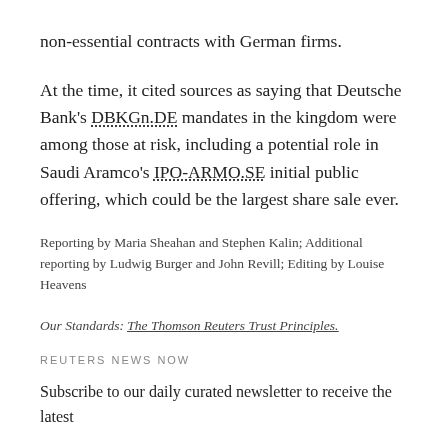non-essential contracts with German firms.
At the time, it cited sources as saying that Deutsche Bank’s DBKGn.DE mandates in the kingdom were among those at risk, including a potential role in Saudi Aramco’s IPO-ARMO.SE initial public offering, which could be the largest share sale ever.
Reporting by Maria Sheahan and Stephen Kalin; Additional reporting by Ludwig Burger and John Revill; Editing by Louise Heavens
Our Standards: The Thomson Reuters Trust Principles.
REUTERS NEWS NOW
Subscribe to our daily curated newsletter to receive the latest